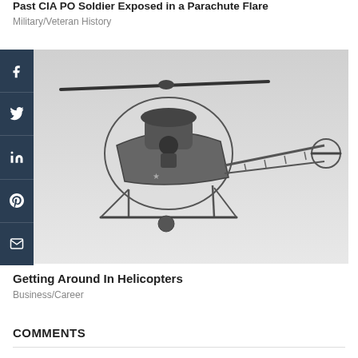Past CIA PO Soldier Exposed in a Parachute Flare
Military/Veteran History
[Figure (photo): Black and white photograph of a military helicopter (Bell H-13 style) in flight with a pilot visible in the open cockpit, showing the skeletal tail boom and landing skids.]
Getting Around In Helicopters
Business/Career
COMMENTS